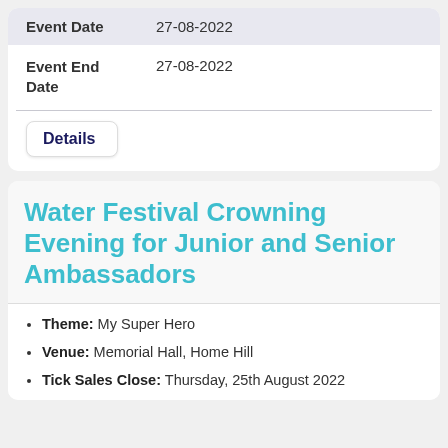| Event Date | 27-08-2022 |
| Event End Date | 27-08-2022 |
Details
Water Festival Crowning Evening for Junior and Senior Ambassadors
Theme: My Super Hero
Venue: Memorial Hall, Home Hill
Tick Sales Close: Thursday, 25th August 2022